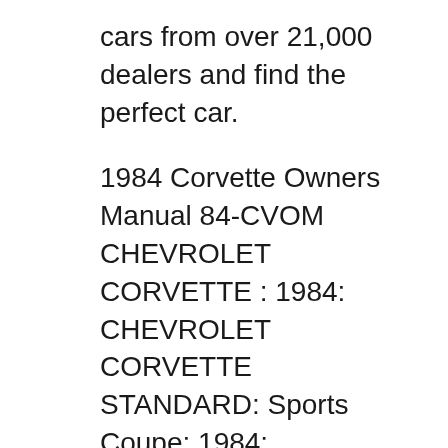cars from over 21,000 dealers and find the perfect car.
1984 Corvette Owners Manual 84-CVOM CHEVROLET CORVETTE : 1984: CHEVROLET CORVETTE STANDARD: Sports Coupe: 1984: CHEVROLET CORVETTE COLLECTORS EDITION: Collectors Edition, Sports Coupe: 1984: RELATED ITEMS. SIMILAR ITEMS. 1984-1996 Corvette Haynes Repair Manual Part # 25-121810-1; 1984-1996 Corvette Chiltons Repair Manual Part # 25-112711-1 ; $22.49 ea. Add to Cart. вЂ¦ Find 41 used 1984 Chevrolet Corvette as low as $3,999 on Carsforsale.comВ®. Shop millions of cars from over 21,000 dealers and find